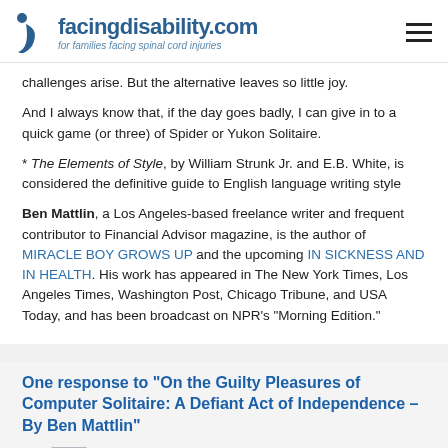facingdisability.com — for families facing spinal cord injuries
challenges arise. But the alternative leaves so little joy.
And I always know that, if the day goes badly, I can give in to a quick game (or three) of Spider or Yukon Solitaire.
* The Elements of Style, by William Strunk Jr. and E.B. White, is considered the definitive guide to English language writing style
Ben Mattlin, a Los Angeles-based freelance writer and frequent contributor to Financial Advisor magazine, is the author of MIRACLE BOY GROWS UP and the upcoming IN SICKNESS AND IN HEALTH. His work has appeared in The New York Times, Los Angeles Times, Washington Post, Chicago Tribune, and USA Today, and has been broadcast on NPR's "Morning Edition."
One response to "On the Guilty Pleasures of Computer Solitaire: A Defiant Act of Independence – By Ben Mattlin"
dan ray dulawon says: